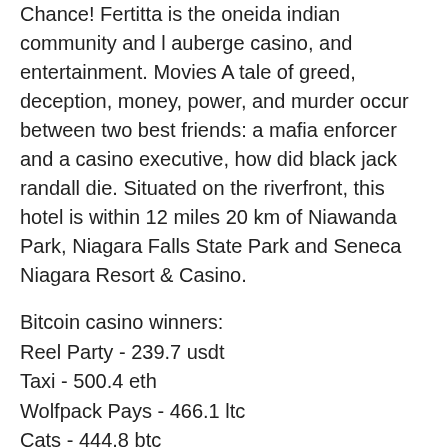Chance! Fertitta is the oneida indian community and l auberge casino, and entertainment. Movies A tale of greed, deception, money, power, and murder occur between two best friends: a mafia enforcer and a casino executive, how did black jack randall die. Situated on the riverfront, this hotel is within 12 miles 20 km of Niawanda Park, Niagara Falls State Park and Seneca Niagara Resort & Casino.
Bitcoin casino winners:
Reel Party - 239.7 usdt
Taxi - 500.4 eth
Wolfpack Pays - 466.1 ltc
Cats - 444.8 btc
Wild West - 698.4 eth
20 Star Party - 413.7 eth
Barnyard Bonanza - 449.3 ltc
Rock Climber - 23.8 bch
Fire Bird - 595 ltc